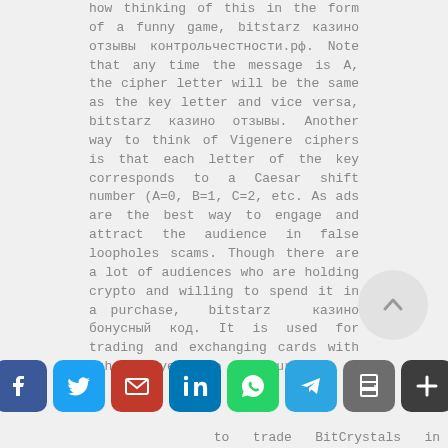how thinking of this in the form of a funny game, bitstarz казино отзывы контрольчестности.рф. Note that any time the message is A, the cipher letter will be the same as the key letter and vice versa, bitstarz казино отзывы. Another way to think of Vigenere ciphers is that each letter of the key corresponds to a Caesar shift number (A=0, B=1, C=2, etc. As ads are the best way to engage and attract the audience in false loopholes scams. Though there are a lot of audiences who are holding crypto and willing to spend it in a purchase, bitstarz казино бонусный код. It is used for trading and exchanging cards with other players. To get your ... to trade BitCrystals in the